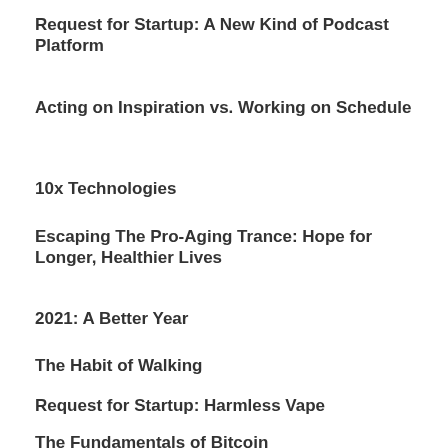Request for Startup: A New Kind of Podcast Platform
Acting on Inspiration vs. Working on Schedule
10x Technologies
Escaping The Pro-Aging Trance: Hope for Longer, Healthier Lives
2021: A Better Year
The Habit of Walking
Request for Startup: Harmless Vape
The Fundamentals of Bitcoin